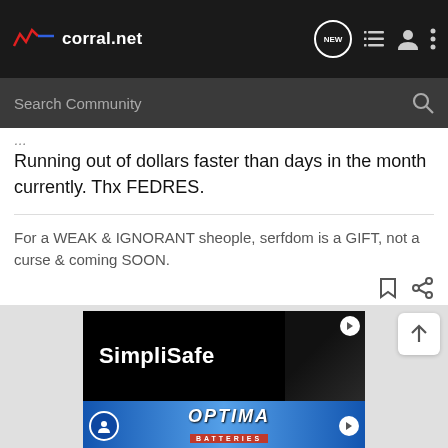corral.net — navigation header with search bar
Running out of dollars faster than days in the month currently. Thx FEDRES.
For a WEAK & IGNORANT sheople, serfdom is a GIFT, not a curse & coming SOON.
[Figure (screenshot): SimpliSafe advertisement banner (black background with white text)]
[Figure (screenshot): Optima Batteries advertisement banner (blue gradient background with brand logo)]